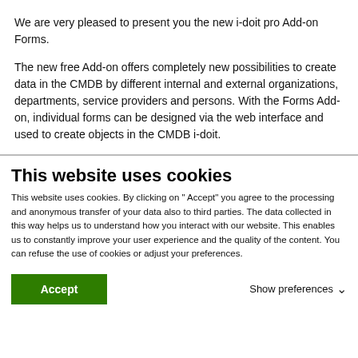We are very pleased to present you the new i-doit pro Add-on Forms.
The new free Add-on offers completely new possibilities to create data in the CMDB by different internal and external organizations, departments, service providers and persons. With the Forms Add-on, individual forms can be designed via the web interface and used to create objects in the CMDB i-doit.
This website uses cookies
This website uses cookies. By clicking on " Accept" you agree to the processing and anonymous transfer of your data also to third parties. The data collected in this way helps us to understand how you interact with our website. This enables us to constantly improve your user experience and the quality of the content. You can refuse the use of cookies or adjust your preferences.
Accept
Show preferences